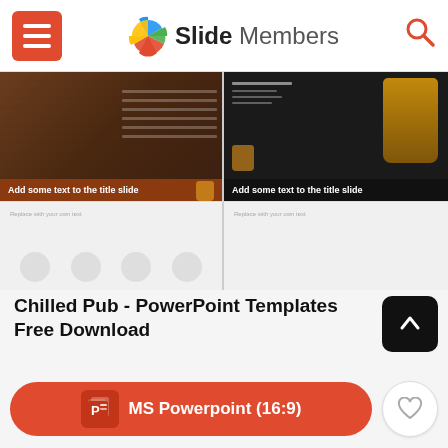Slide Members
[Figure (screenshot): Four slide preview thumbnails from Chilled Pub PowerPoint template showing wooden background slides and dark drink-themed slides]
Chilled Pub - PowerPoint Templates Free Download
Modern and clean design
Creative slides
MS Powerpoint  (16:9)